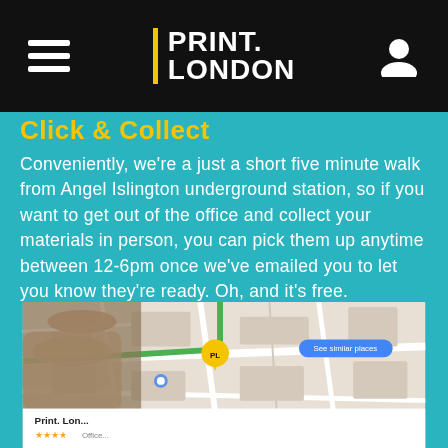PRINT. LONDON
Click & Collect
Conveniently, we're a just a short five minute walk from Angel Islington underground station, so if you want to get out of the office and collect your materials in person, you can pick them up anytime between 12-6pm once we've emailed you to let you know they're ready. Oh, and it's free.
[Figure (photo): Hand holding a smartphone displaying Google Maps with Print.London location pinned, showing nearby streets and a business listing panel at the bottom.]